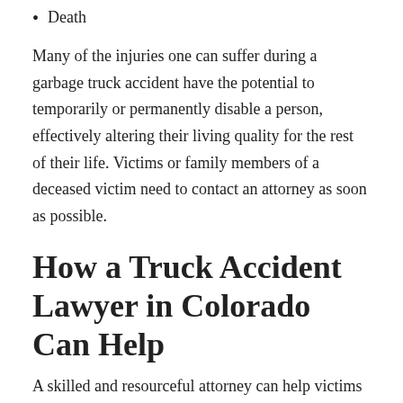Death
Many of the injuries one can suffer during a garbage truck accident have the potential to temporarily or permanently disable a person, effectively altering their living quality for the rest of their life. Victims or family members of a deceased victim need to contact an attorney as soon as possible.
How a Truck Accident Lawyer in Colorado Can Help
A skilled and resourceful attorney can help victims find the best medical care possible and help pause their medical bills until their claim is resolved. For surviving family members, an attorney can be the clear head in the room fighting for your family and lost loved one to recover compensation and help hold those responsible liable. An attorney can help with: